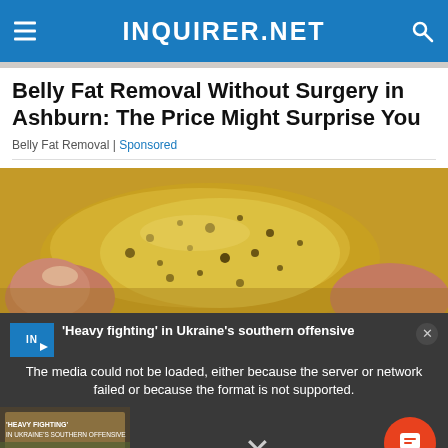INQUIRER.NET
Belly Fat Removal Without Surgery in Ashburn: The Price Might Surprise You
Belly Fat Removal | Sponsored
[Figure (photo): Close-up photo of golden/honey-colored substance with dark spots being held by fingers]
[Figure (screenshot): Video overlay showing error message: The media could not be loaded, either because the server or network failed or because the format is not supported. Side panel shows 'Heavy fighting' in Ukraine's southern offensive news thumbnail. Bottom left shows 'HEAVY FIGHTING IN UKRAINE'S SOUTHERN OFFENSIVE' text. Orange chat button visible. Close X button at bottom.]